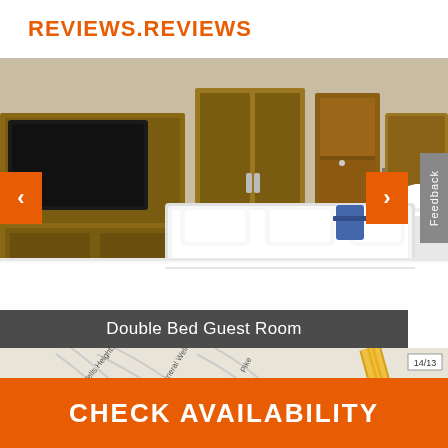REVIEWS.REVIEWS
[Figure (photo): Hotel double bed guest room interior showing two queen-sized beds with white linens, wooden furniture, wall-mounted TV, and wardrobe. Navigation arrows on left and right side, feedback tab on far right.]
Double Bed Guest Room
[Figure (map): Street map showing Mineral Wells Heights Dr, Mineral Wells Heights Pike, road markers 14 and 2, and route indicator 14/13.]
CHECK AVAILABILITY